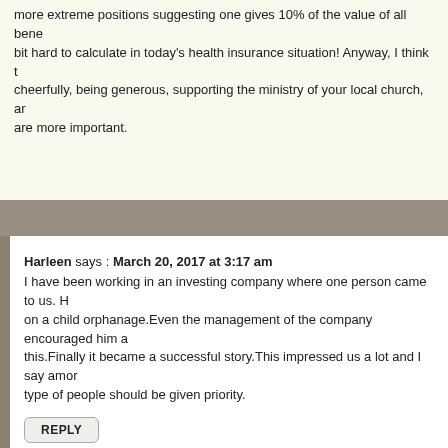more extreme positions suggesting one gives 10% of the value of all bene bit hard to calculate in today's health insurance situation! Anyway, I think t cheerfully, being generous, supporting the ministry of your local church, ar are more important.
Harleen says : March 20, 2017 at 3:17 am
I have been working in an investing company where one person came to us. H on a child orphanage.Even the management of the company encouraged him a this.Finally it became a successful story.This impressed us a lot and I say amor type of people should be given priority.
REPLY
Kalie says : March 20, 2017 at 8:32 pm
Very cool story! Thanks for sharing.